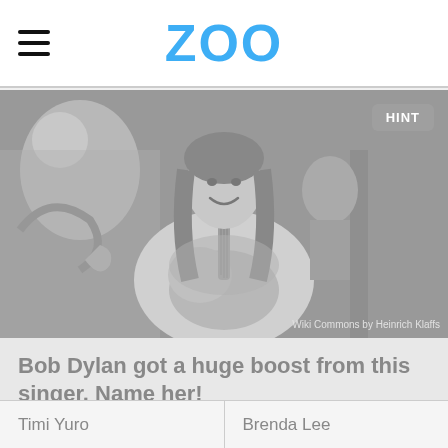ZOO
[Figure (photo): Grayscale photo of a woman with long dark hair playing an acoustic guitar on stage, smiling. There is a cartoon character visible in the background. Credit: Wiki Commons by Heinrich Klaffs]
Bob Dylan got a huge boost from this singer. Name her!
Timi Yuro
Brenda Lee